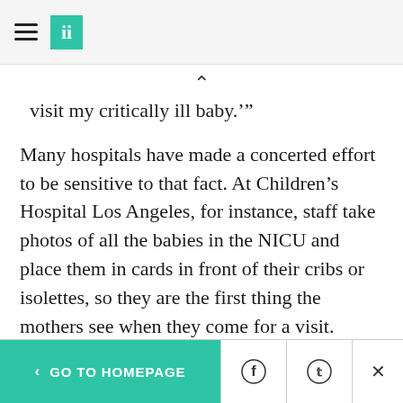HuffPost navigation logo
visit my critically ill baby.'”
Many hospitals have made a concerted effort to be sensitive to that fact. At Children’s Hospital Los Angeles, for instance, staff take photos of all the babies in the NICU and place them in cards in front of their cribs or isolettes, so they are the first thing the mothers see when they come for a visit. Social workers and peer support groups talk about how to handle the emotions of the day.
< GO TO HOMEPAGE